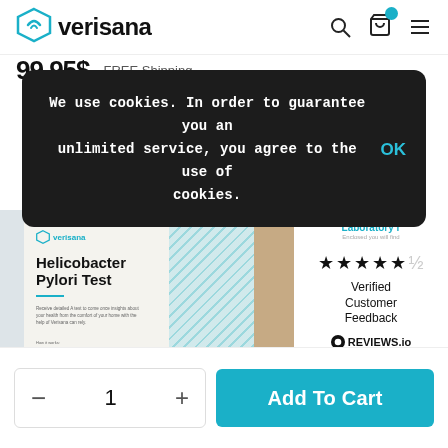verisana
99.95$  FREE Shipping
We use cookies. In order to guarantee you an unlimited service, you agree to the use of cookies.
[Figure (photo): Helicobacter Pylori Test product box with teal stripe and brown side panel]
Laboratory r... Verified Customer Feedback ★★★★★ REVIEWS.io
1  Add To Cart